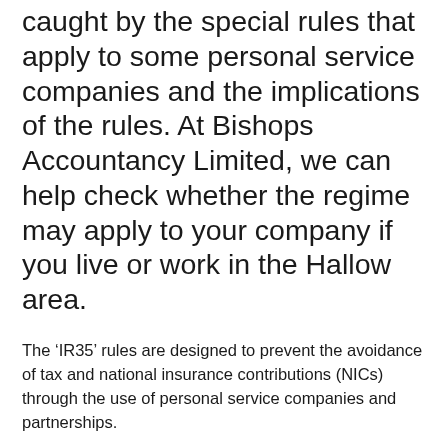We summarise what situations are caught by the special rules that apply to some personal service companies and the implications of the rules. At Bishops Accountancy Limited, we can help check whether the regime may apply to your company if you live or work in the Hallow area.
The 'IR35' rules are designed to prevent the avoidance of tax and national insurance contributions (NICs) through the use of personal service companies and partnerships.
The rules do not stop individuals selling their services through either their own personal companies or a partnership. However, they do seek to remove any possible tax advantages from doing so.